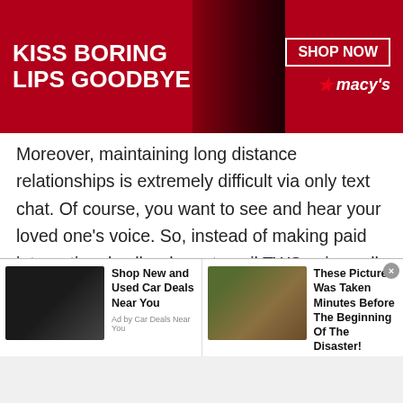[Figure (screenshot): Top banner advertisement: 'KISS BORING LIPS GOODBYE' with woman model and 'SHOP NOW' button and Macy's logo on red background]
Moreover, maintaining long distance relationships is extremely difficult via only text chat. Of course, you want to see and hear your loved one's voice. So, instead of making paid international calls why not avail TWS voice call feature? It is easy, convenient and available for free. Well, if you ever think to make international calls, don't forget to download the Talkwithstranger app and start using the unlimited voice call option. So, what would you like to choose making phone calls or the TWS voice calling option? Whatever your choice, make sure to choose the
[Figure (screenshot): Bottom ad strip with two advertisements: 1) Car image with 'Shop New and Used Car Deals Near You' Ad by Car Deals Near You. 2) Flood/disaster image with 'These Pictures Was Taken Minutes Before The Beginning Of The Disaster!' Ad by BillyNews]